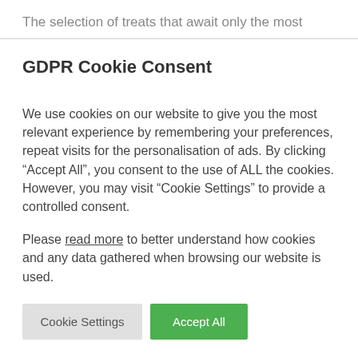The selection of treats that await only the most
GDPR Cookie Consent
We use cookies on our website to give you the most relevant experience by remembering your preferences, repeat visits for the personalisation of ads. By clicking “Accept All”, you consent to the use of ALL the cookies. However, you may visit “Cookie Settings” to provide a controlled consent.
Please read more to better understand how cookies and any data gathered when browsing our website is used.
Cookie Settings | Accept All